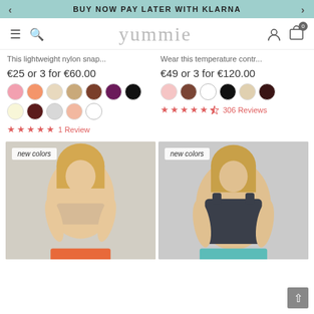BUY NOW PAY LATER WITH KLARNA
[Figure (screenshot): Yummie website navigation bar with hamburger menu, search icon, yummie logo, user icon, and cart icon with badge showing 0]
This lightweight nylon snap...
€25 or 3 for €60.00
[Figure (illustration): Color swatches: pink, peach/orange, cream/beige, tan, brown, dark purple/maroon, black, light yellow, dark maroon, light gray, peach/salmon, white]
★ ★ ★ ★ ★ 1 Review
Wear this temperature contr...
€49 or 3 for €120.00
[Figure (illustration): Color swatches: light pink, brown, white, black, cream/beige, dark brown/maroon]
★ ★ ★ ★ ☆ 306 Reviews
[Figure (photo): Woman wearing a beige/nude bandeau bra top with orange bottoms, new colors badge shown]
[Figure (photo): Woman wearing a dark navy/charcoal sports bra tank top with teal bottoms, new colors badge shown]